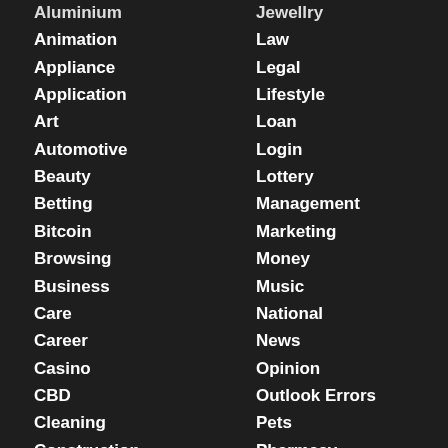Aluminium
Jewellry
Animation
Law
Appliance
Legal
Application
Lifestyle
Art
Loan
Automotive
Login
Beauty
Lottery
Betting
Management
Bitcoin
Marketing
Browsing
Money
Business
Music
Care
National
Career
News
Casino
Opinion
CBD
Outlook Errors
Cleaning
Pets
Construction
Pharmacy